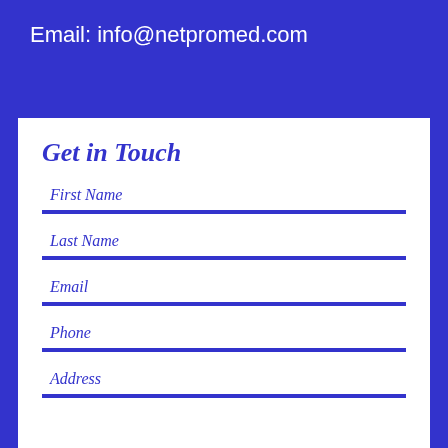Email: info@netpromed.com
Get in Touch
First Name
Last Name
Email
Phone
Address